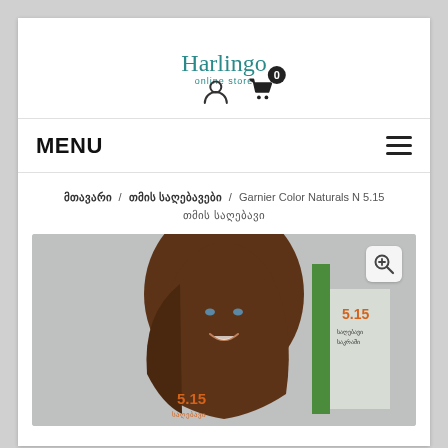[Figure (logo): Harlingo online store logo in teal cursive script with subtitle 'online store']
[Figure (illustration): User account icon and shopping cart icon with badge showing 0 items]
MENU
მთავარი / თმის საღებავები / Garnier Color Naturals N 5.15 თმის საღებავი
[Figure (photo): Garnier Color Naturals N 5.15 hair dye product box with model showing brown hair color, number 5.15 in orange]